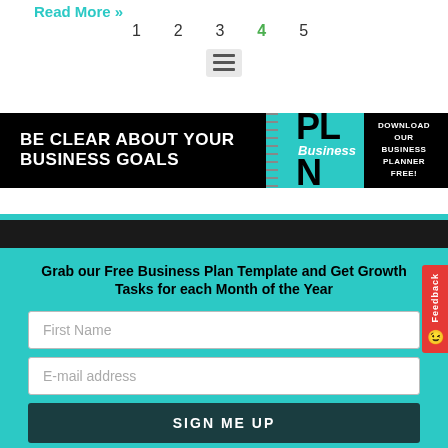Read More »
1  2  3  4  5
[Figure (other): Hamburger menu icon (three horizontal lines) in a grey box]
[Figure (other): Business plan banner ad: 'BE CLEAR ABOUT YOUR BUSINESS GOALS' on black background with teal 'PLAN' graphic and 'DOWNLOAD OUR BUSINESS PLANNER FREE!' text on right]
[Figure (other): Red vertical feedback tab on the right edge]
Grab our Free Business Plan Template and Get Growth Tasks for each Month of the Year
First Name
E-mail address
SIGN ME UP